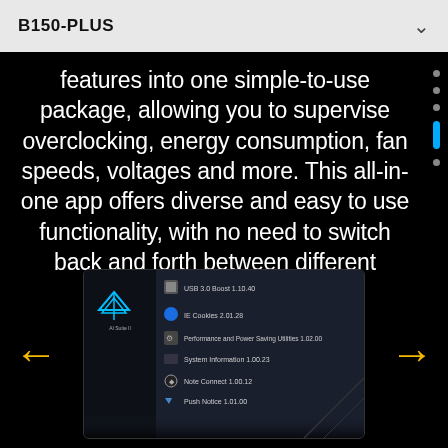B150-PLUS
features into one simple-to-use package, allowing you to supervise overclocking, energy consumption, fan speeds, voltages and more. This all-in-one app offers diverse and easy to use functionality, with no need to switch back and forth between different utilities.
[Figure (screenshot): Screenshot of AI Suite II software showing a list of utilities including USB 3.0 Boost, IE Cookies, Performance and Power Saving Utilities, System Information, Note Connect, and Push Notice with version numbers]